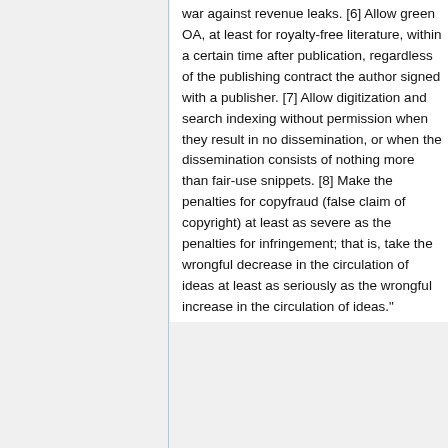war against revenue leaks. [6] Allow green OA, at least for royalty-free literature, within a certain time after publication, regardless of the publishing contract the author signed with a publisher. [7] Allow digitization and search indexing without permission when they result in no dissemination, or when the dissemination consists of nothing more than fair-use snippets. [8] Make the penalties for copyfraud (false claim of copyright) at least as severe as the penalties for infringement; that is, take the wrongful decrease in the circulation of ideas at least as seriously as the wrongful increase in the circulation of ideas."